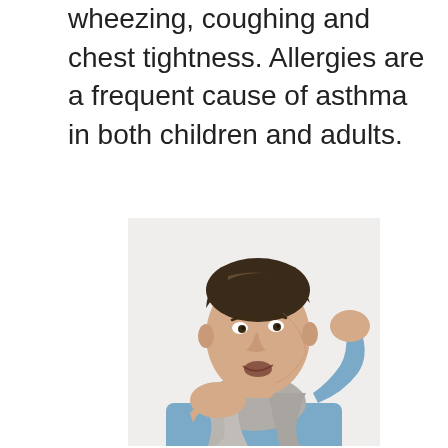wheezing, coughing and chest tightness. Allergies are a frequent cause of asthma in both children and adults.
[Figure (photo): A man wearing a light blue shirt and grey scarf, coughing into his fist while holding his chest, depicted against a white background.]